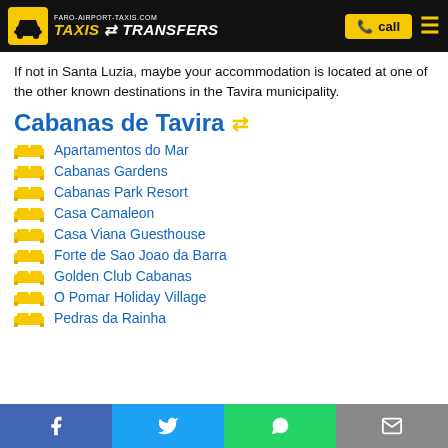FARO-AIRPORT-TAXIS.COM TAXIS & TRANSFERS — call
If not in Santa Luzia, maybe your accommodation is located at one of the other known destinations in the Tavira municipality.
Cabanas de Tavira ⇄
Apartamentos do Mar
Cabanas Gardens
Cabanas Park Resort
Casa Camaleon
Casa Viana Guesthouse
Forte de Sao Joao da Barra
Golden Club Cabanas
O Pomar Holiday Village
Pedras da Rainha
Facebook | Twitter | WhatsApp | Email